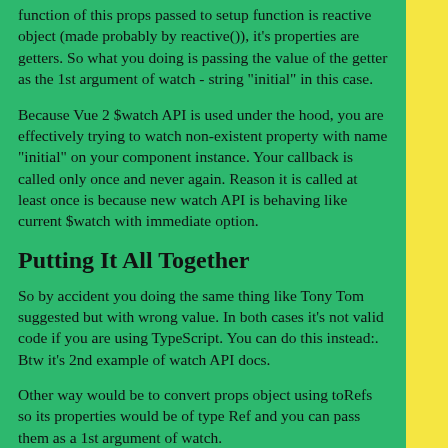function of this props passed to setup function is reactive object (made probably by reactive()), it's properties are getters. So what you doing is passing the value of the getter as the 1st argument of watch - string "initial" in this case.
Because Vue 2 $watch API is used under the hood, you are effectively trying to watch non-existent property with name "initial" on your component instance. Your callback is called only once and never again. Reason it is called at least once is because new watch API is behaving like current $watch with immediate option.
Putting It All Together
So by accident you doing the same thing like Tony Tom suggested but with wrong value. In both cases it's not valid code if you are using TypeScript. You can do this instead:. Btw it's 2nd example of watch API docs.
Other way would be to convert props object using toRefs so its properties would be of type Ref and you can pass them as a 1st argument of watch.